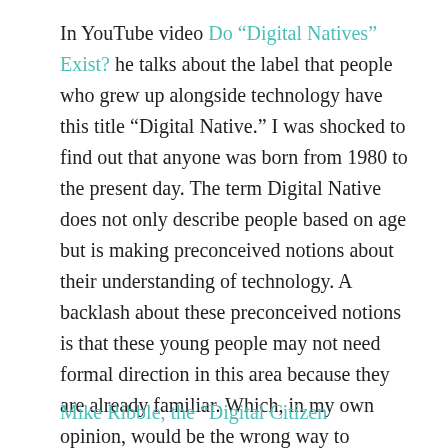In YouTube video Do "Digital Natives" Exist? he talks about the label that people who grew up alongside technology have this title “Digital Native.” I was shocked to find out that anyone was born from 1980 to the present day. The term Digital Native does not only describe people based on age but is making preconceived notions about their understanding of technology. A backlash about these preconceived notions is that these young people may not need formal direction in this area because they are already familiar. Which, in my own opinion, would be the wrong way to approach it. Looking at a school format, students are there to learn, and this is an area in which we should be emphasizing as a crucial skill for future success in a modern world.
Mike Ribble, the “Digital Citizenship God Father”